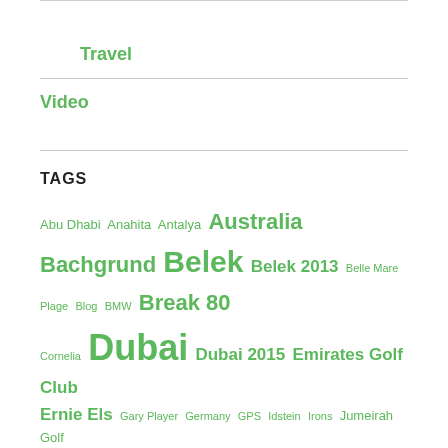Travel
Video
TAGS
Abu Dhabi Anahita Antalya Australia Bachgrund Belek Belek 2013 Belle Mare Plage Blog BMW Break 80 Cornelia Dubai Dubai 2015 Emirates Golf Club Ernie Els Gary Player Germany GPS Idstein Irons Jumeirah Golf Estates Lessons Learned Le Touessrok London Mallorca Mallorca 2019 Mallorca Press Cup Martin Kaymer Masters Mauritius Montgomerie Nike Project 12 Race To Belek Range Rory McIlroy Ryder Cup Saadiyat Scotland Season South Africa South Africa 2015